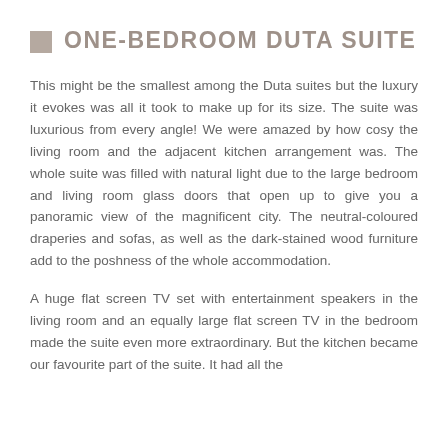ONE-BEDROOM DUTA SUITE
This might be the smallest among the Duta suites but the luxury it evokes was all it took to make up for its size. The suite was luxurious from every angle! We were amazed by how cosy the living room and the adjacent kitchen arrangement was. The whole suite was filled with natural light due to the large bedroom and living room glass doors that open up to give you a panoramic view of the magnificent city. The neutral-coloured draperies and sofas, as well as the dark-stained wood furniture add to the poshness of the whole accommodation.
A huge flat screen TV set with entertainment speakers in the living room and an equally large flat screen TV in the bedroom made the suite even more extraordinary. But the kitchen became our favourite part of the suite. It had all the